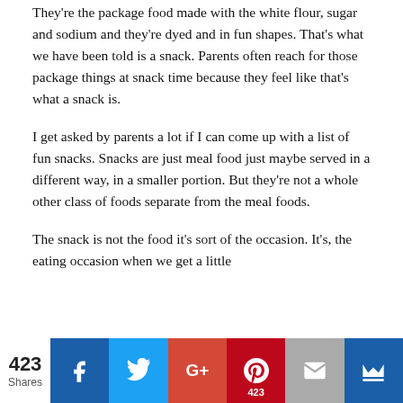They're the package food made with the white flour, sugar and sodium and they're dyed and in fun shapes. That's what we have been told is a snack. Parents often reach for those package things at snack time because they feel like that's what a snack is.
I get asked by parents a lot if I can come up with a list of fun snacks. Snacks are just meal food just maybe served in a different way, in a smaller portion. But they're not a whole other class of foods separate from the meal foods.
The snack is not the food it's sort of the occasion. It's, the eating occasion when we get a little
423 Shares | Facebook | Twitter | G+ | Pinterest 423 | Email | Crown